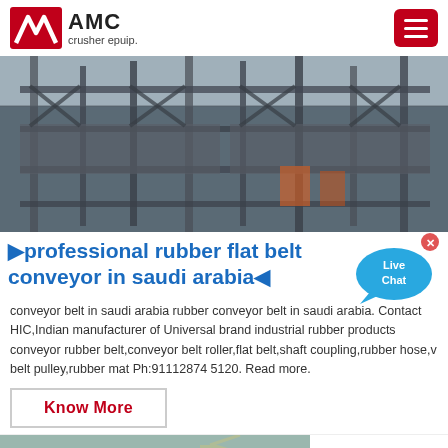AMC crusher epuip.
[Figure (photo): Aerial view of industrial crusher/processing plant with metal framework and machinery]
►professional rubber flat belt conveyor in saudi arabia◄
conveyor belt in saudi arabia rubber conveyor belt in saudi arabia. Contact HIC,Indian manufacturer of Universal brand industrial rubber products conveyor rubber belt,conveyor belt roller,flat belt,shaft coupling,rubber hose,v belt pulley,rubber mat Ph:91112874 5120. Read more.
Know More
[Figure (photo): Construction or mining site with yellow machinery and rocky/green terrain]